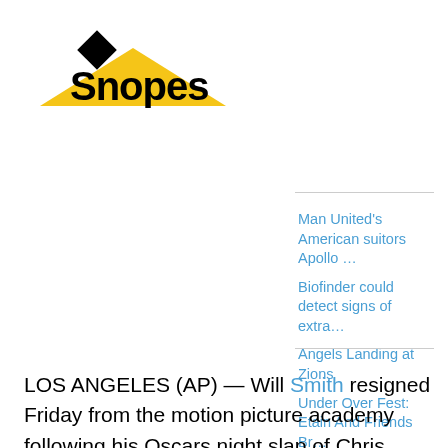[Figure (logo): Snopes logo with black diamond/house icon and yellow triangle background, with 'Snopes' text in bold black]
Man United's American suitors Apollo …
Biofinder could detect signs of extra…
Angels Landing at Zions
Under Over Fest: Etain And Friends Br…
LOS ANGELES (AP) — Will Smith resigned Friday from the motion picture academy following his Oscars night slap of Chris Rock and said he would accept any further punishment the organization imposed.
Smith is expected to be released Friday after a court ruled